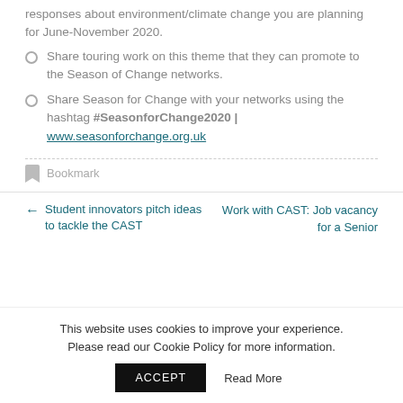responses about environment/climate change you are planning for June-November 2020.
Share touring work on this theme that they can promote to the Season of Change networks.
Share Season for Change with your networks using the hashtag #SeasonforChange2020 | www.seasonforchange.org.uk
Bookmark
Student innovators pitch ideas to tackle the CAST
Work with CAST: Job vacancy for a Senior
This website uses cookies to improve your experience. Please read our Cookie Policy for more information.
ACCEPT   Read More